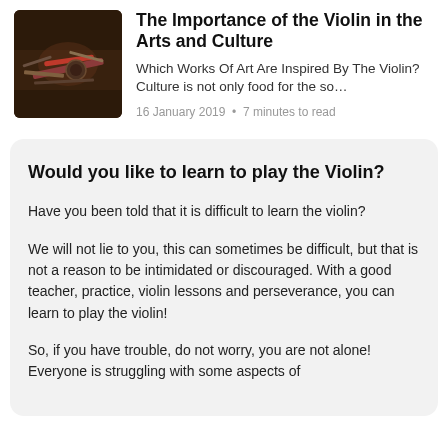[Figure (photo): A photo of violin-making or music-related tools and objects on a wooden surface, including what appears to be a pink/red item and various instruments or workshop items.]
The Importance of the Violin in the Arts and Culture
Which Works Of Art Are Inspired By The Violin? Culture is not only food for the so...
16 January 2019  •  7 minutes to read
Would you like to learn to play the Violin?
Have you been told that it is difficult to learn the violin?
We will not lie to you, this can sometimes be difficult, but that is not a reason to be intimidated or discouraged. With a good teacher, practice, violin lessons and perseverance, you can learn to play the violin!
So, if you have trouble, do not worry, you are not alone! Everyone is struggling with some aspects of